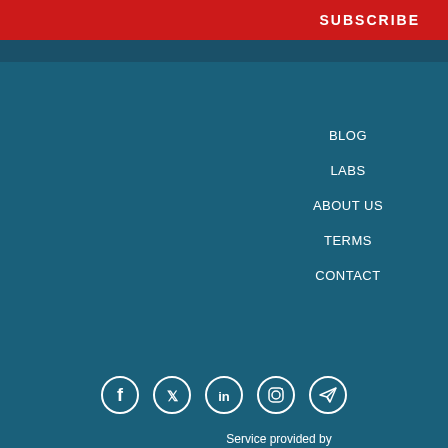SUBSCRIBE
BLOG
LABS
ABOUT US
TERMS
CONTACT
[Figure (other): Social media icons: Facebook, Twitter, LinkedIn, Instagram, Telegram]
Service provided by
[Figure (logo): OCHA logo with UN emblem globe icon and text OCHA]